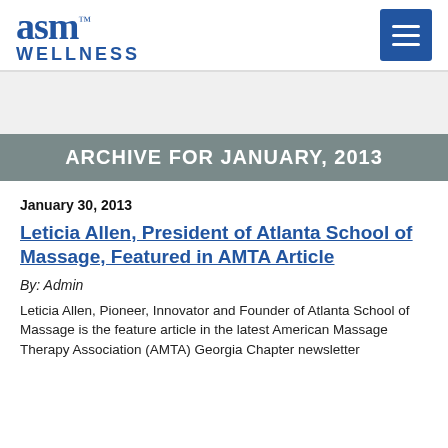asm WELLNESS
ARCHIVE FOR JANUARY, 2013
January 30, 2013
Leticia Allen, President of Atlanta School of Massage, Featured in AMTA Article
By: Admin
Leticia Allen, Pioneer, Innovator and Founder of Atlanta School of Massage is the feature article in the latest American Massage Therapy Association (AMTA) Georgia Chapter newsletter